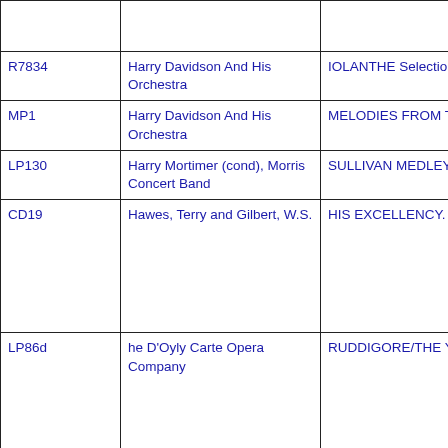| ID | Performer | Title |
| --- | --- | --- |
|  |  |  |
| R7834 | Harry Davidson And His Orchestra | IOLANTHE Selection |
| MP1 | Harry Davidson And His Orchestra | MELODIES FROM THE GILBERT A OPERAS |
| LP130 | Harry Mortimer (cond), Morris Concert Band | SULLIVAN MEDLEY (arr. Seymour) |
| CD19 | Hawes, Terry and Gilbert, W.S. | HIS EXCELLENCY. |
| LP86d | he D'Oyly Carte Opera Company | RUDDIGORE/THE YEOMEN OF T |
| LP163 | International Concert | THE HEART OF THE OVERTURE |